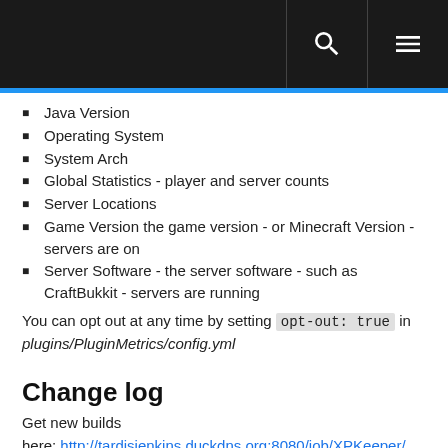Java Version
Operating System
System Arch
Global Statistics - player and server counts
Server Locations
Game Version the game version - or Minecraft Version - servers are on
Server Software - the server software - such as CraftBukkit - servers are running
You can opt out at any time by setting opt-out: true in plugins/PluginMetrics/config.yml
Change log
Get new builds here: http://tardisjenkins.duckdns.org:8080/job/XPKeeper/
v1.4
Requires CraftBukkit 1.7.5 or higher